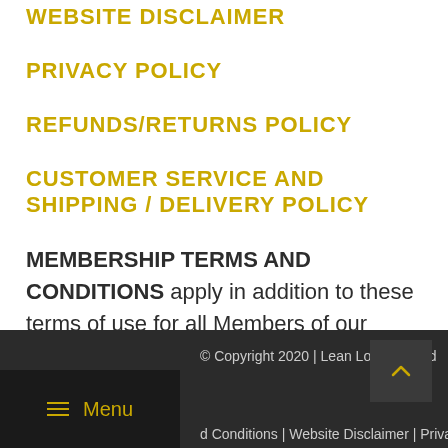WEBSITE DISCLAIMER
PRIVACY POLICY
REFUNDS/RETURNS POLICY
CUSTOMER SERVICE AND SHIPPING / DELIVERY POLICY
MEMBERSHIP TERMS AND CONDITIONS apply in addition to these terms of use for all Members of our membership programs.
© Copyright 2020 | Lean Logic Pty Ltd
d Conditions | Website Disclaimer | Privacy